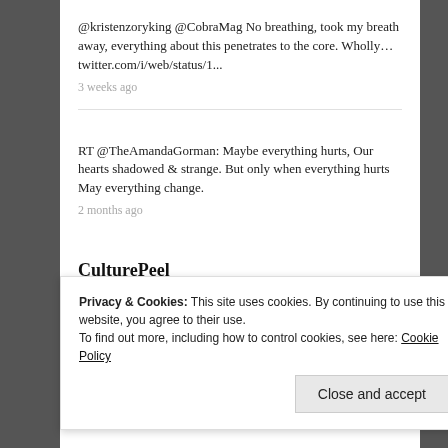@kristenzoryking @CobraMag No breathing, took my breath away, everything about this penetrates to the core. Wholly… twitter.com/i/web/status/1...
3 weeks ago
RT @TheAmandaGorman: Maybe everything hurts, Our hearts shadowed & strange. But only when everything hurts May everything change.
2 months ago
CulturePeel
Privacy & Cookies: This site uses cookies. By continuing to use this website, you agree to their use.
To find out more, including how to control cookies, see here: Cookie Policy
Close and accept